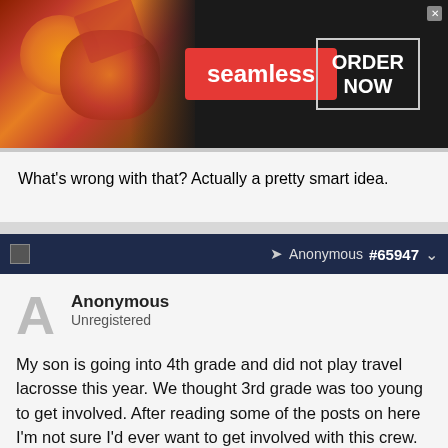[Figure (screenshot): Seamless food delivery advertisement banner with pizza image on left, red Seamless logo in center, ORDER NOW button in white border box on right, dark background]
What's wrong with that? Actually a pretty smart idea.
Anonymous #65947
Anonymous
Unregistered
My son is going into 4th grade and did not play travel lacrosse this year. We thought 3rd grade was too young to get involved. After reading some of the posts on here I'm not sure I'd ever want to get involved with this crew. It's really unbelievable what youth sports has become and how it brings out the absolute worst in people. How do
[Figure (screenshot): Quicken financial software advertisement with logo, Take Control of Your Finances text, woman at computer image, pie chart graphic, and BUY NOW button]